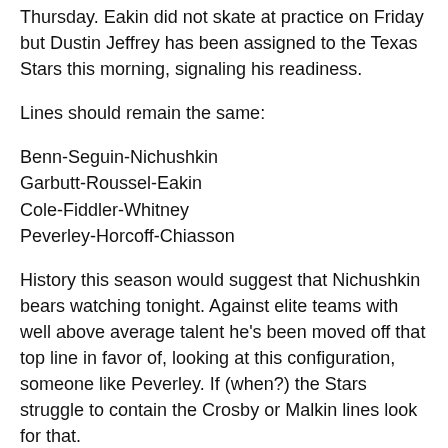Thursday. Eakin did not skate at practice on Friday but Dustin Jeffrey has been assigned to the Texas Stars this morning, signaling his readiness.
Lines should remain the same:
Benn-Seguin-Nichushkin
Garbutt-Roussel-Eakin
Cole-Fiddler-Whitney
Peverley-Horcoff-Chiasson
History this season would suggest that Nichushkin bears watching tonight. Against elite teams with well above average talent he's been moved off that top line in favor of, looking at this configuration, someone like Peverley. If (when?) the Stars struggle to contain the Crosby or Malkin lines look for that.